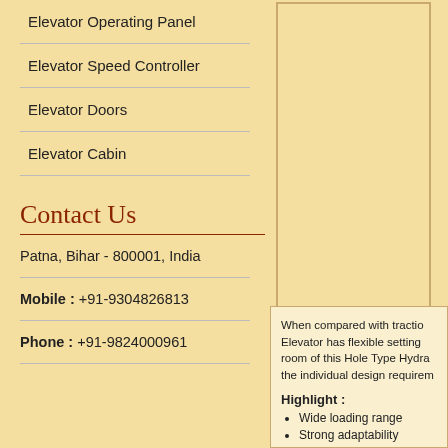Elevator Operating Panel
Elevator Speed Controller
Elevator Doors
Elevator Cabin
Contact Us
Patna, Bihar - 800001, India
Mobile : +91-9304826813
Phone : +91-9824000961
When compared with traction Elevator has flexible setting room of this Hole Type Hydraulic the individual design requirem...
Highlight :
Wide loading range
Strong adaptability